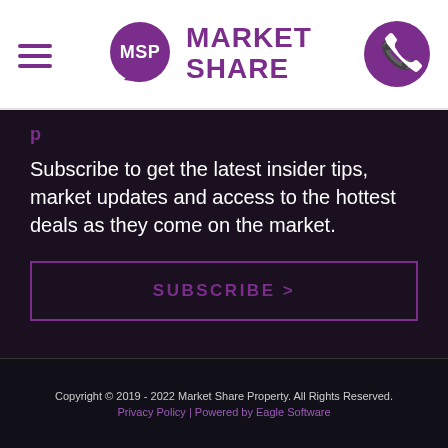[Figure (logo): MSP Market Share Property logo with purple speech bubble icon and text]
Subscribe to get the latest insider tips, market updates and access to the hottest deals as they come on the market.
SUBSCRIBE >
Copyright © 2019 - 2022 Market Share Property. All Rights Reserved.
Privacy Policy | Powered by Eagle Software